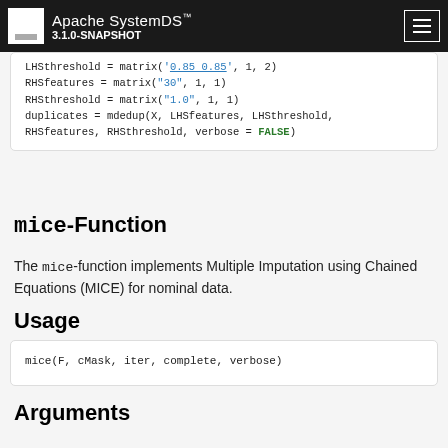Apache SystemDS™ 3.1.0-SNAPSHOT
LHSthreshold = matrix('0.85 0.85', 1, 2)
RHSfeatures = matrix("30", 1, 1)
RHSthreshold = matrix("1.0", 1, 1)
duplicates = mdedup(X, LHSfeatures, LHSthreshold,
RHSfeatures, RHSthreshold, verbose = FALSE)
mice-Function
The mice-function implements Multiple Imputation using Chained Equations (MICE) for nominal data.
Usage
mice(F, cMask, iter, complete, verbose)
Arguments